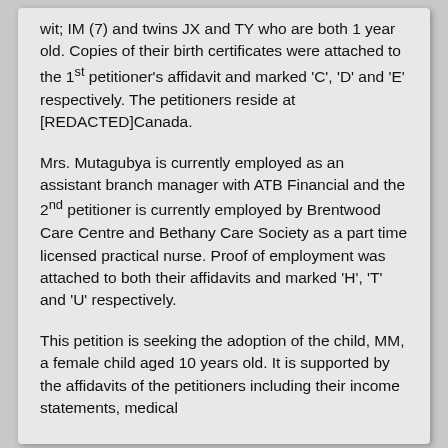wit; IM (7) and twins JX and TY who are both 1 year old. Copies of their birth certificates were attached to the 1st petitioner's affidavit and marked 'C', 'D' and 'E' respectively. The petitioners reside at [REDACTED]Canada.
Mrs. Mutagubya is currently employed as an assistant branch manager with ATB Financial and the 2nd petitioner is currently employed by Brentwood Care Centre and Bethany Care Society as a part time licensed practical nurse. Proof of employment was attached to both their affidavits and marked 'H', 'T' and 'U' respectively.
This petition is seeking the adoption of the child, MM, a female child aged 10 years old. It is supported by the affidavits of the petitioners including their income statements, medical reports of the petitioners and their biological...